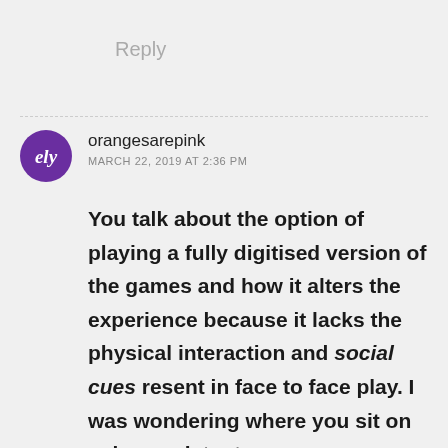Reply
orangesarepink
MARCH 22, 2019 AT 2:36 PM
You talk about the option of playing a fully digitised version of the games and how it alters the experience because it lacks the physical interaction and social cues resent in face to face play. I was wondering where you sit on using assistant apps